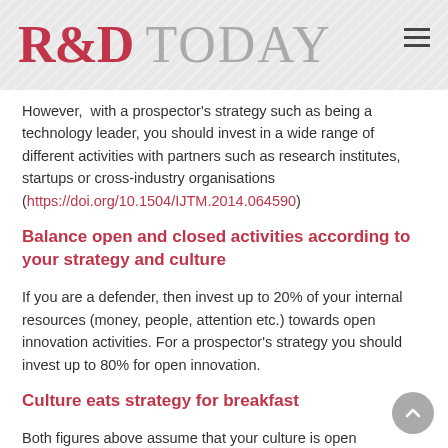R&D TODAY
However,  with a prospector's strategy such as being a technology leader, you should invest in a wide range of different activities with partners such as research institutes, startups or cross-industry organisations (https://doi.org/10.1504/IJTM.2014.064590)
Balance open and closed activities according to your strategy and culture
If you are a defender, then invest up to 20% of your internal resources (money, people, attention etc.) towards open innovation activities. For a prospector's strategy you should invest up to 80% for open innovation.
Culture eats strategy for breakfast
Both figures above assume that your culture is open